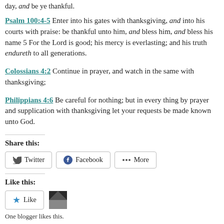day, and be ye thankful.
Psalm 100:4-5 Enter into his gates with thanksgiving, and into his courts with praise: be thankful unto him, and bless him, and bless his name 5 For the Lord is good; his mercy is everlasting; and his truth endureth to all generations.
Colossians 4:2 Continue in prayer, and watch in the same with thanksgiving;
Philippians 4:6 Be careful for nothing; but in every thing by prayer and supplication with thanksgiving let your requests be made known unto God.
Share this:
Twitter Facebook More
Like this:
Like
One blogger likes this.